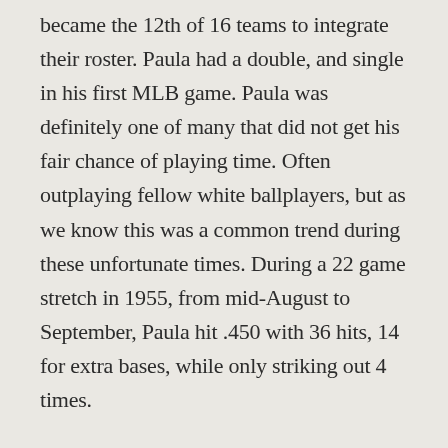became the 12th of 16 teams to integrate their roster. Paula had a double, and single in his first MLB game. Paula was definitely one of many that did not get his fair chance of playing time. Often outplaying fellow white ballplayers, but as we know this was a common trend during these unfortunate times. During a 22 game stretch in 1955, from mid-August to September, Paula hit .450 with 36 hits, 14 for extra bases, while only striking out 4 times.
🐦fact: In 1954 Topps issued a card of Angel Scull who was thought to be the first player to integrate the Senators, but he never appeared in a Major League game!